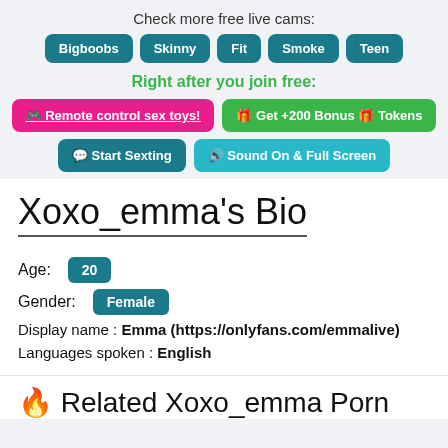Check more free live cams:
Bigboobs
Skinny
Fit
Smoke
Teen
Right after you join free:
🎮 Remote control sex toys!
🎁 Get +200 Bonus 🎁 Tokens
💬 Start Sexting
🔊 Sound On & Full Screen
Xoxo_emma's Bio
Age: 20
Gender: Female
Display name : Emma (https://onlyfans.com/emmalive)
Languages spoken : English
🔥 Related Xoxo_emma Porn